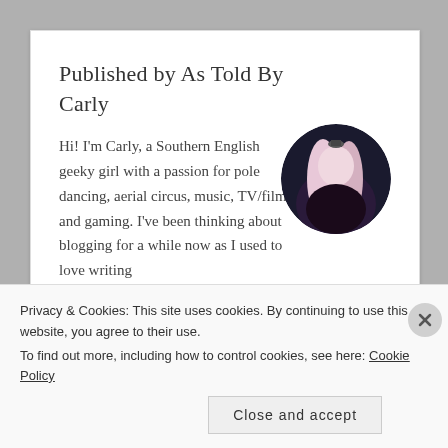Published by As Told By Carly
Hi! I'm Carly, a Southern English geeky girl with a passion for pole dancing, aerial circus, music, TV/film and gaming. I've been thinking about blogging for a while now as I used to love writing
[Figure (photo): Circular profile photo of a young woman with long light-colored hair wearing dark clothing, with a dark circular/vintage style frame]
Privacy & Cookies: This site uses cookies. By continuing to use this website, you agree to their use.
To find out more, including how to control cookies, see here: Cookie Policy
Close and accept